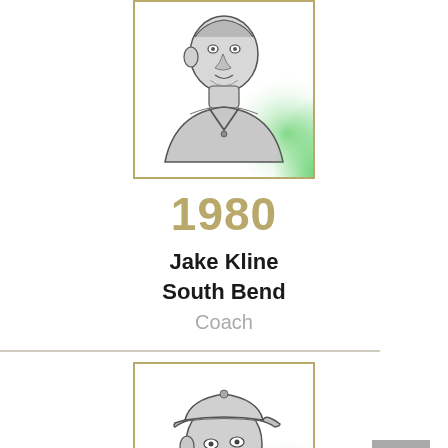[Figure (illustration): Sketch portrait of Jake Kline in baseball uniform, silver/gray tones with green glow at right, framed with gold/olive border]
1980
Jake Kline
South Bend
Coach
[Figure (illustration): Sketch portrait of a person wearing a baseball cap, silver/gray tones with green glow at right, framed with gold/olive border]
1980